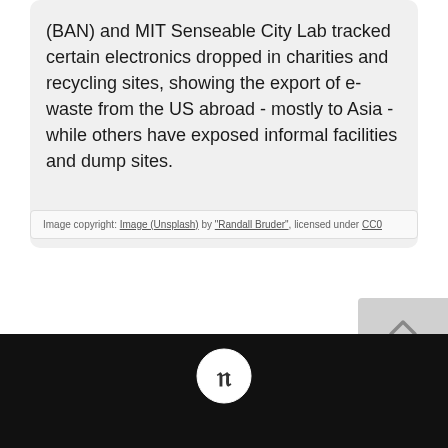(BAN) and MIT Senseable City Lab tracked certain electronics dropped in charities and recycling sites, showing the export of e-waste from the US abroad - mostly to Asia - while others have exposed informal facilities and dump sites.
Image copyright: Image (Unsplash) by "Randall Bruder", licensed under CC0
« 1 »